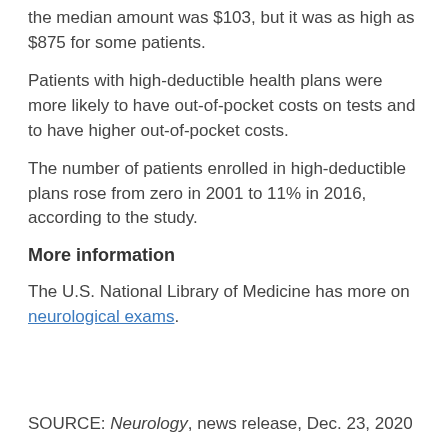the median amount was $103, but it was as high as $875 for some patients.
Patients with high-deductible health plans were more likely to have out-of-pocket costs on tests and to have higher out-of-pocket costs.
The number of patients enrolled in high-deductible plans rose from zero in 2001 to 11% in 2016, according to the study.
More information
The U.S. National Library of Medicine has more on neurological exams.
SOURCE: Neurology, news release, Dec. 23, 2020